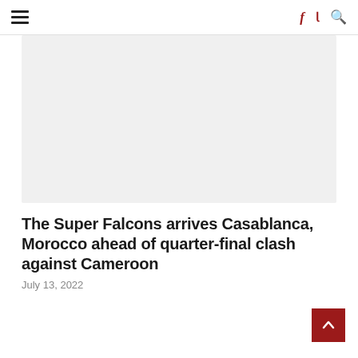≡  f  🐦  🔍
[Figure (photo): Large light grey placeholder image area for article photo]
The Super Falcons arrives Casablanca, Morocco ahead of quarter-final clash against Cameroon
July 13, 2022